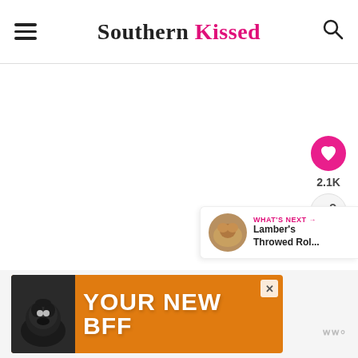Southern Kissed
[Figure (screenshot): Large white empty content area below the site header]
[Figure (infographic): Floating pink heart button with 2.1K count and a share button below]
[Figure (infographic): What's Next panel showing a thumbnail and text: Lamber's Throwed Rol...]
[Figure (infographic): Orange advertisement banner with dog image and text YOUR NEW BFF, with close button and partner logo]